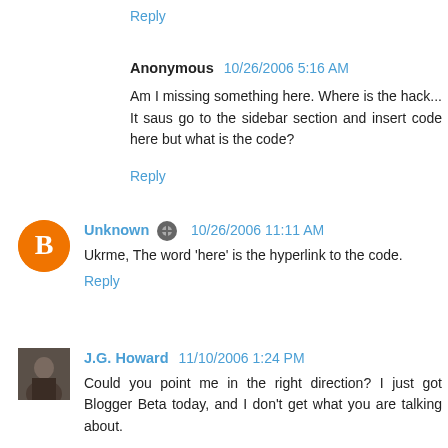Reply
Anonymous 10/26/2006 5:16 AM
Am I missing something here. Where is the hack... It saus go to the sidebar section and insert code here but what is the code?
Reply
Unknown 10/26/2006 11:11 AM
Ukrme, The word 'here' is the hyperlink to the code.
Reply
J.G. Howard 11/10/2006 1:24 PM
Could you point me in the right direction? I just got Blogger Beta today, and I don't get what you are talking about.
I don't see any Page elements tab in templates. Is it